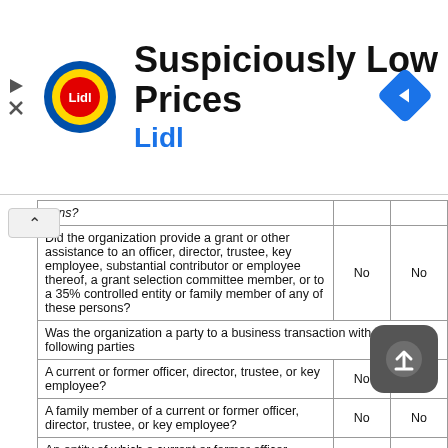[Figure (logo): Lidl advertisement banner with Lidl logo, text 'Suspiciously Low Prices' and 'Lidl', and navigation arrow icon]
| Question | Col1 | Col2 |
| --- | --- | --- |
| sons? |  |  |
| Did the organization provide a grant or other assistance to an officer, director, trustee, key employee, substantial contributor or employee thereof, a grant selection committee member, or to a 35% controlled entity or family member of any of these persons? | No | No |
| Was the organization a party to a business transaction with one of the following parties |  |  |
| A current or former officer, director, trustee, or key employee? | No | No |
| A family member of a current or former officer, director, trustee, or key employee? | No | No |
| An entity of which a current or former officer, director, trustee, or key employee (or a family member thereof) was an officer, director, trustee, or direct or indirect owner? | No | No |
| Did the organization receive more than $25,000 in non-cash contributions? | No | No |
| Did the organization receive contributions of art, historical treasures or other similar assets, or qualified conservation contributions? | No | No |